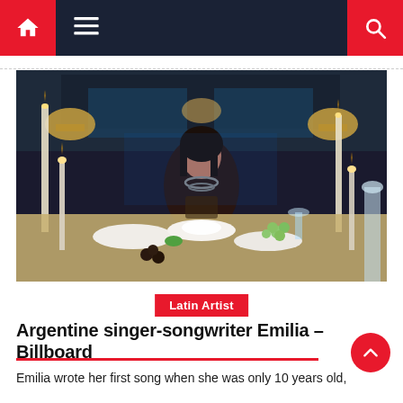Navigation bar with home, menu, and search icons
[Figure (photo): A woman with dark hair and dark lipstick sits at an elegantly set dinner table with candles, bowls, grapes, and glassware. The background shows a mirrored restaurant interior with warm lamplight.]
Latin Artist
Argentine singer-songwriter Emilia – Billboard
Emilia wrote her first song when she was only 10 years old,